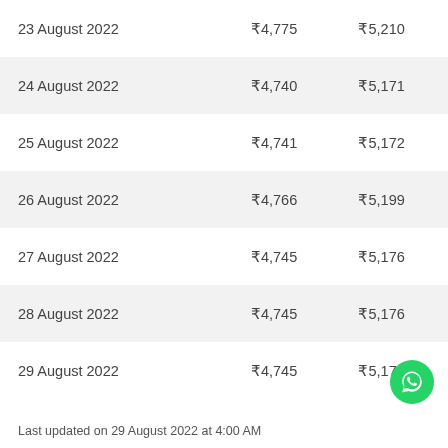| 23 August 2022 | ₹4,775 | ₹5,210 |
| 24 August 2022 | ₹4,740 | ₹5,171 |
| 25 August 2022 | ₹4,741 | ₹5,172 |
| 26 August 2022 | ₹4,766 | ₹5,199 |
| 27 August 2022 | ₹4,745 | ₹5,176 |
| 28 August 2022 | ₹4,745 | ₹5,176 |
| 29 August 2022 | ₹4,745 | ₹5,176 |
Last updated on 29 August 2022 at 4:00 AM